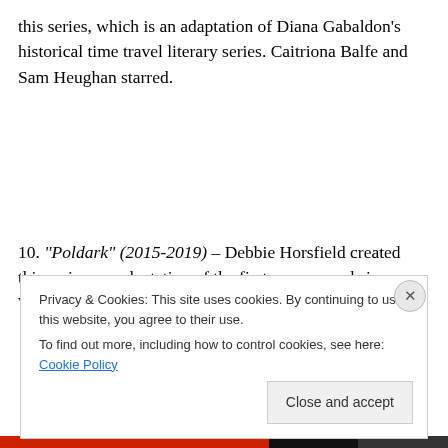this series, which is an adaptation of Diana Gabaldon's historical time travel literary series. Caitriona Balfe and Sam Heughan starred.
10. “Poldark” (2015-2019) – Debbie Horsfield created this series, an adaptation of the first seven novels in Winston Graham’s Poldark literary series. Aidan Turner starred.
Privacy & Cookies: This site uses cookies. By continuing to use this website, you agree to their use. To find out more, including how to control cookies, see here: Cookie Policy
Close and accept